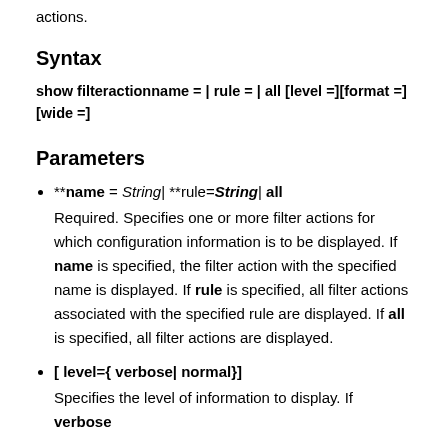actions.
Syntax
Parameters
**name= String| **rule=String| all
Required. Specifies one or more filter actions for which configuration information is to be displayed. If name is specified, the filter action with the specified name is displayed. If rule is specified, all filter actions associated with the specified rule are displayed. If all is specified, all filter actions are displayed.
[ level={ verbose| normal}]
Specifies the level of information to display. If verbose